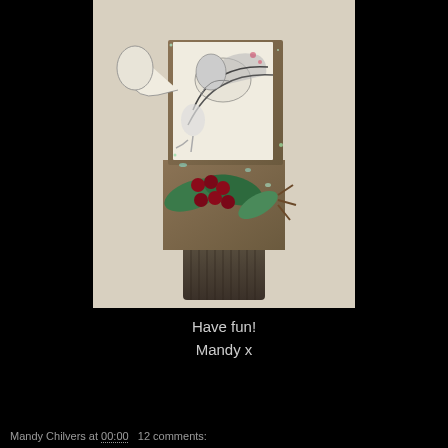[Figure (photo): A handmade mixed-media craft piece featuring a decorative figure with vintage stamp imagery of birds and a child, mounted on a tin or cylindrical base, adorned with glitter, green holly leaves, dark red berries, and iridescent sequins.]
Have fun!
Mandy x
Mandy Chilvers at 00:00   12 comments: